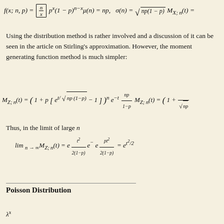Using the distribution method is rather involved and a discussion of it can be seen in the article on Stirling's approximation. However, the moment generating function method is much simpler:
Thus, in the limit of large n
Poisson Distribution